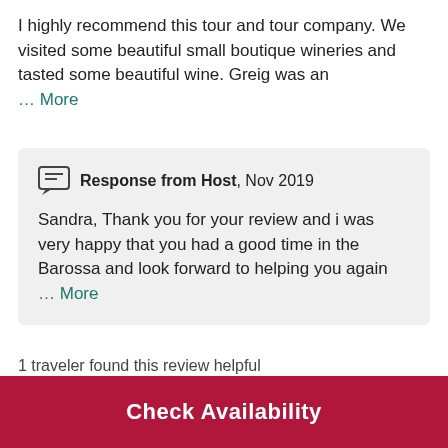I highly recommend this tour and tour company. We visited some beautiful small boutique wineries and tasted some beautiful wine. Greig was an … More
Response from Host, Nov 2019
Sandra, Thank you for your review and i was very happy that you had a good time in the Barossa and look forward to helping you again … More
1 traveler found this review helpful
Customers Who Bought This Tour Also
Check Availability